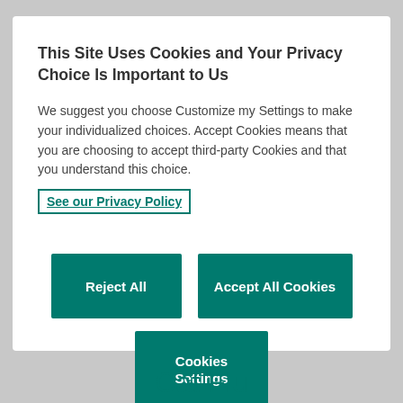This Site Uses Cookies and Your Privacy Choice Is Important to Us
We suggest you choose Customize my Settings to make your individualized choices. Accept Cookies means that you are choosing to accept third-party Cookies and that you understand this choice.
See our Privacy Policy
Reject All
Accept All Cookies
Cookies Settings
Cat Flu